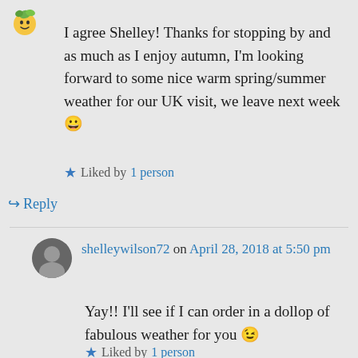[Figure (illustration): Small emoji/avatar icon in top-left corner]
I agree Shelley! Thanks for stopping by and as much as I enjoy autumn, I'm looking forward to some nice warm spring/summer weather for our UK visit, we leave next week 😀
★ Liked by 1 person
↪ Reply
[Figure (photo): User avatar for shelleywilson72]
shelleywilson72 on April 28, 2018 at 5:50 pm
Yay!! I'll see if I can order in a dollop of fabulous weather for you 😉
★ Liked by 1 person